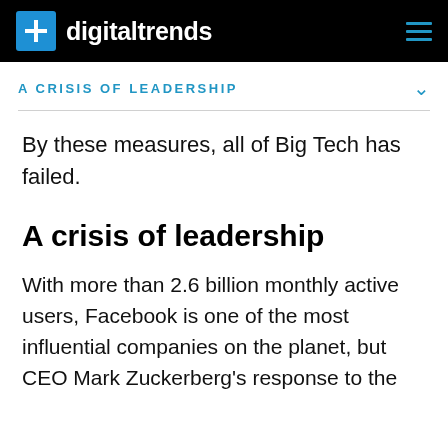digitaltrends
A CRISIS OF LEADERSHIP
By these measures, all of Big Tech has failed.
A crisis of leadership
With more than 2.6 billion monthly active users, Facebook is one of the most influential companies on the planet, but CEO Mark Zuckerberg's response to the